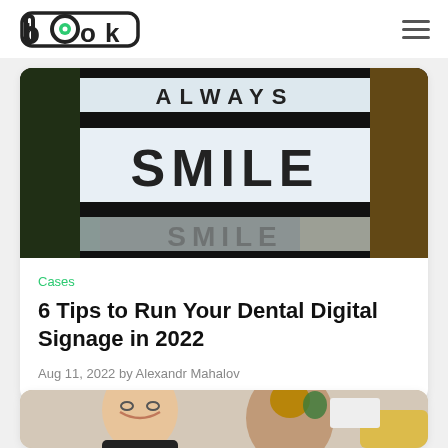LOOK logo and navigation menu
[Figure (photo): Lightbox sign displaying the word SMILE with 'ALWAYS' above it, partially visible, on a dark background]
Cases
6 Tips to Run Your Dental Digital Signage in 2022
Aug 11, 2022 by Alexandr Mahalov
[Figure (photo): A smiling man with glasses and a woman with her back turned, in what appears to be an office or studio setting]